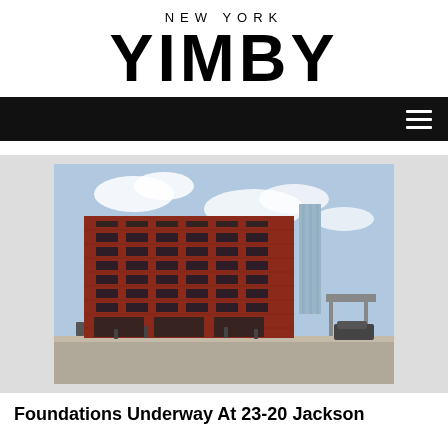NEW YORK YIMBY
[Figure (photo): Architectural rendering of a red brick multi-story building at 23-20 Jackson Avenue, with a glass tower visible in the background and street-level activity.]
Foundations Underway At 23-20 Jackson